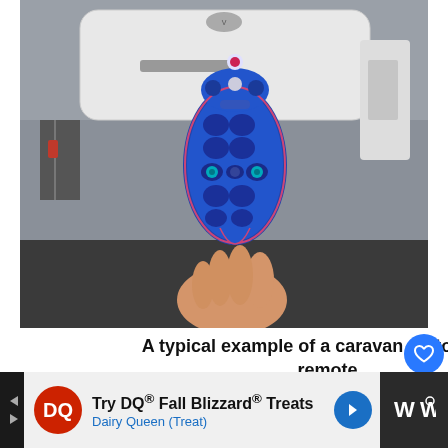[Figure (photo): A hand holding a blue caravan motor mover remote control, photographed in front of a white caravan. The remote is oval-shaped, dark blue with multiple buttons and glowing teal accent lights.]
A typical example of a caravan motor mover remote.
[Figure (other): WHAT'S NEXT arrow label with thumbnail image and text 'Caravan Layouts In...']
[Figure (other): Advertisement banner: Try DQ® Fall Blizzard® Treats - Dairy Queen (Treat) with DQ logo and navigation arrow icon]